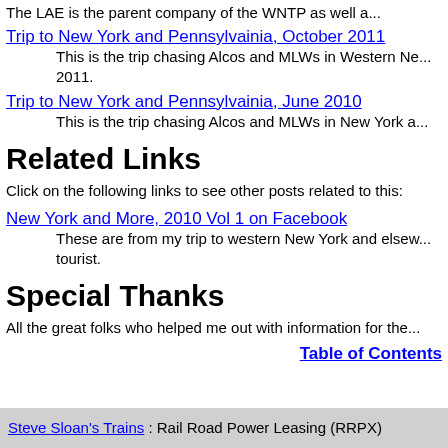The LAE is the parent company of the WNTP as well a...
Trip to New York and Pennsylvainia, October 2011
    This is the trip chasing Alcos and MLWs in Western Ne... 2011.
Trip to New York and Pennsylvainia, June 2010
    This is the trip chasing Alcos and MLWs in New York a...
Related Links
Click on the following links to see other posts related to this:
New York and More, 2010 Vol 1 on Facebook
    These are from my trip to western New York and elsew... tourist.
Special Thanks
All the great folks who helped me out with information for the...
Table of Contents
Steve Sloan's Trains : Rail Road Power Leasing (RRPX)